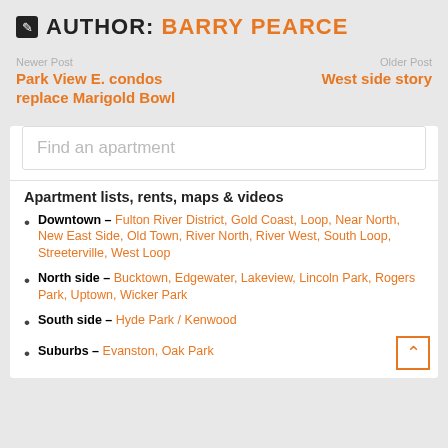AUTHOR: BARRY PEARCE
Newer Post
Park View E. condos replace Marigold Bowl
Older Post
West side story
Find an apartment
Apartment lists, rents, maps & videos
Downtown – Fulton River District, Gold Coast, Loop, Near North, New East Side, Old Town, River North, River West, South Loop, Streeterville, West Loop
North side – Bucktown, Edgewater, Lakeview, Lincoln Park, Rogers Park, Uptown, Wicker Park
South side – Hyde Park / Kenwood
Suburbs – Evanston, Oak Park